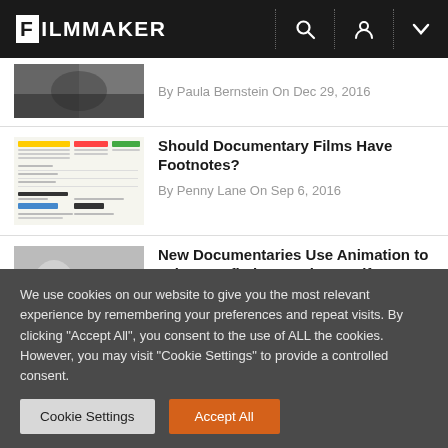FILMMAKER
By Paula Bernstein On Dec 29, 2016
Should Documentary Films Have Footnotes?
By Penny Lane On Sep 6, 2016
New Documentaries Use Animation to Bring Nonfiction Stories to Life
By Paula Bernstein On Jun 23, 2016
We use cookies on our website to give you the most relevant experience by remembering your preferences and repeat visits. By clicking "Accept All", you consent to the use of ALL the cookies. However, you may visit "Cookie Settings" to provide a controlled consent.
Cookie Settings
Accept All